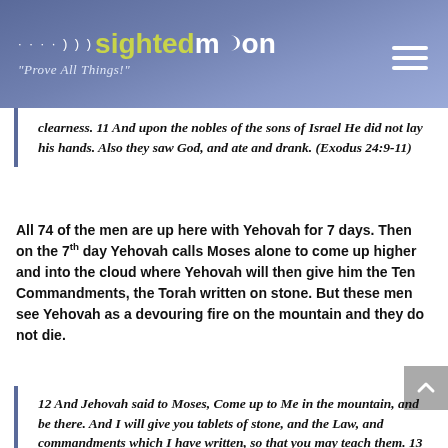sightedmoon "Prove All Things!"
clearness. 11 And upon the nobles of the sons of Israel He did not lay his hands. Also they saw God, and ate and drank. (Exodus 24:9-11)
All 74 of the men are up here with Yehovah for 7 days. Then on the 7th day Yehovah calls Moses alone to come up higher and into the cloud where Yehovah will then give him the Ten Commandments, the Torah written on stone. But these men see Yehovah as a devouring fire on the mountain and they do not die.
12 And Jehovah said to Moses, Come up to Me in the mountain, and be there. And I will give you tablets of stone, and the Law, and commandments which I have written, so that you may teach them. 13 And Moses rose up, and his attendant Joshua. And Moses went up into the mountain of God. 14 And he said to the elders, You stay here for us until we come again